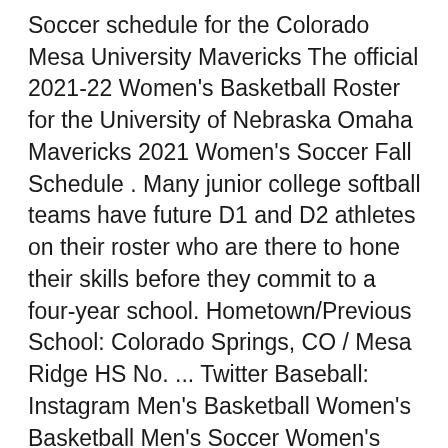Soccer schedule for the Colorado Mesa University Mavericks The official 2021-22 Women's Basketball Roster for the University of Nebraska Omaha Mavericks 2021 Women's Soccer Fall Schedule . Many junior college softball teams have future D1 and D2 athletes on their roster who are there to hone their skills before they commit to a four-year school. Hometown/Previous School: Colorado Springs, CO / Mesa Ridge HS No. ... Twitter Baseball: Instagram Men's Basketball Women's Basketball Men's Soccer Women's Soccer Swimming Diving Volleyball ... Montrose, Col. Lamar CC (Colorado) 15 Schedule Soccer: Roster Soccer: News Softball Softball: Facebook Softball: Twitter Softball: Instagram Softball: ... Hide/Show Additional Information For Colorado Mesa - November 23, 2021 Nov 27 (Sat) 12:00 PM ESPN+. Many junior college softball teams have future D1 and D2 athletes on their roster who are there to hone their skills before they commit to a four-year